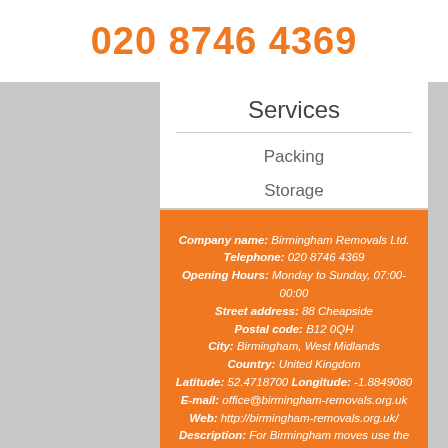020 8746 4369
Services
Packing
Storage
Our social network
Company name: Birmingham Removals Ltd. Telephone: 020 8746 4369 Opening Hours: Monday to Sunday, 07:00-00:00 Street address: 88 Cheapside Postal code: B12 0QH City: Birmingham, West Midlands Country: United Kingdom Latitude: 52.4718700 Longitude: -1.8849080 E-mail: office@birmingham-removals.org.uk Web: http://birmingham-removals.org.uk/ Description: For Birmingham moves use the removal services of our trustworthy moving